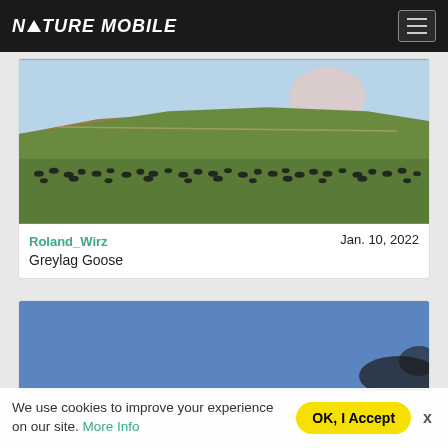NATURE MOBILE
[Figure (photo): Flock of greylag geese on a green agricultural field with rolling hills and light sky with a pinkish cloud in the background.]
Roland_Wirz    Jan. 10, 2022
Greylag Goose
[Figure (photo): Partially visible second card showing a blue sky background, appears to be another bird sighting photo.]
We use cookies to improve your experience on our site. More Info   OK, I Accept   x